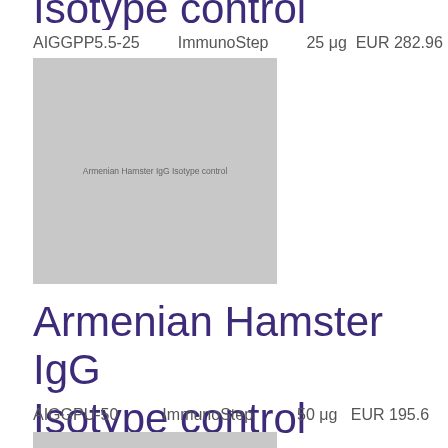Isotype control
AIGGPP5.5-25    ImmunoStep    25 μg  EUR 282.96
[Figure (photo): Product image placeholder for Armenian Hamster IgG Isotype control]
Armenian Hamster IgG Isotype control
AIGGPU-50    ImmunoStep    50 μg    EUR 195.6
[Figure (photo): Product image placeholder for Armenian Hamster IgG Isotype control]
Armenian Hamster IgG